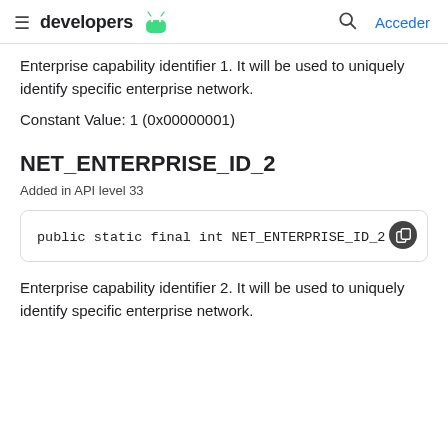developers [android logo] Acceder
Enterprise capability identifier 1. It will be used to uniquely identify specific enterprise network.
Constant Value: 1 (0x00000001)
NET_ENTERPRISE_ID_2
Added in API level 33
public static final int NET_ENTERPRISE_ID_2
Enterprise capability identifier 2. It will be used to uniquely identify specific enterprise network.